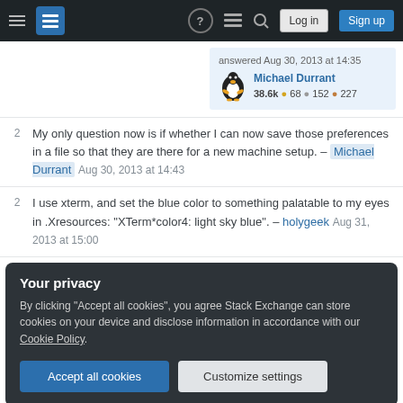Stack Exchange navigation bar with hamburger menu, logo, icons, Log in and Sign up buttons
answered Aug 30, 2013 at 14:35 — Michael Durrant — 38.6k 68 152 227
2 My only question now is if whether I can now save those preferences in a file so that they are there for a new machine setup. – Michael Durrant Aug 30, 2013 at 14:43
2 I use xterm, and set the blue color to something palatable to my eyes in .Xresources: "XTerm*color4: light sky blue". – holygeek Aug 31, 2013 at 15:00
Your privacy
By clicking "Accept all cookies", you agree Stack Exchange can store cookies on your device and disclose information in accordance with our Cookie Policy.
Accept all cookies   Customize settings
set t_Co=256